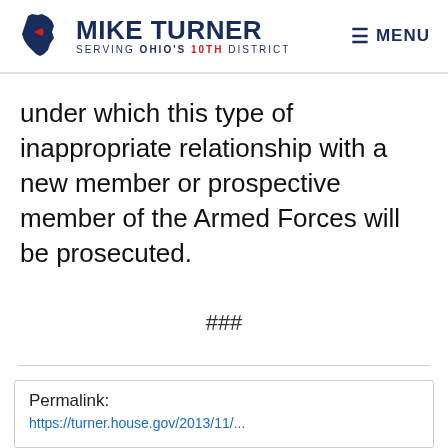MIKE TURNER — SERVING OHIO'S 10TH DISTRICT | MENU
under which this type of inappropriate relationship with a new member or prospective member of the Armed Forces will be prosecuted.
###
Permalink:
https://turner.house.gov/2013/11/...